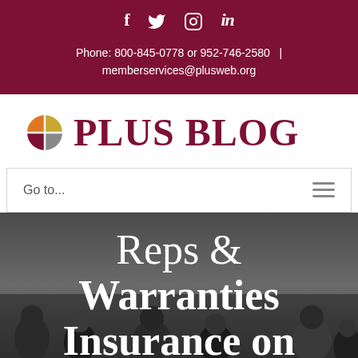Social icons: f (Facebook), Twitter, Instagram, in (LinkedIn)
Phone: 800-845-0778 or 952-746-2580 | memberservices@plusweb.org
[Figure (logo): PLUS Blog logo with circular quadrant icon in orange, gold, maroon, and gray colors, followed by 'PLUS BLOG' text in maroon serif font]
Go to...
Reps & Warranties Insurance on